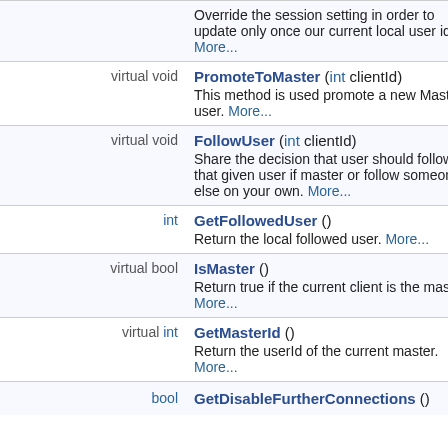| Type | Member |
| --- | --- |
|  | Override the session setting in order to update only once our current local user id. More... |
| virtual void | PromoteToMaster (int clientId)
This method is used promote a new Master user. More... |
| virtual void | FollowUser (int clientId)
Share the decision that user should follow that given user if master or follow someone else on your own. More... |
| int | GetFollowedUser ()
Return the local followed user. More... |
| virtual bool | IsMaster ()
Return true if the current client is the master. More... |
| virtual int | GetMasterId ()
Return the userId of the current master. More... |
| bool | GetDisableFurtherConnections () |